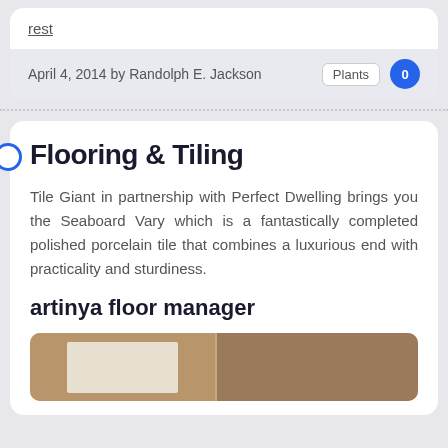rest
April 4, 2014 by Randolph E. Jackson   Plants   0
Flooring & Tiling
Tile Giant in partnership with Perfect Dwelling brings you the Seaboard Vary which is a fantastically completed polished porcelain tile that combines a luxurious end with practicality and sturdiness.
artinya floor manager
[Figure (photo): Photo strip showing interior flooring/room images with wooden doors and white walls]